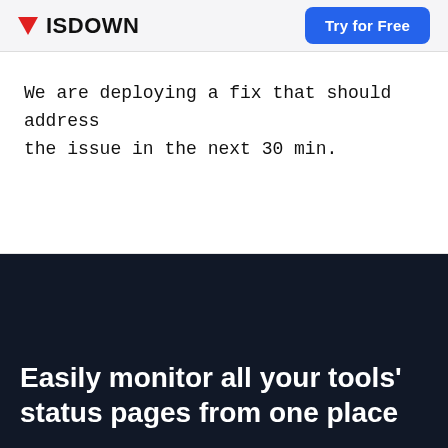ISDOWN | Try for Free
We are deploying a fix that should address the issue in the next 30 min.
Easily monitor all your tools' status pages from one place